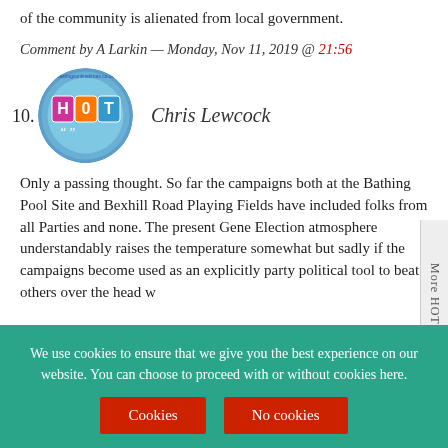of the community is alienated from local government.
Comment by A Larkin — Monday, Nov 11, 2019 @ 21:56
10. Chris Lewcock
Only a passing thought. So far the campaigns both at the Bathing Pool Site and Bexhill Road Playing Fields have included folks from all Parties and none. The present General Election atmosphere understandably raises the temperature somewhat but sadly if the campaigns become used as an explicitly party political tool to beat others over the head w
More HOT Stuff
We use cookies to ensure that we give you the best experience on our website. You can choose to proceed with or without cookies here.